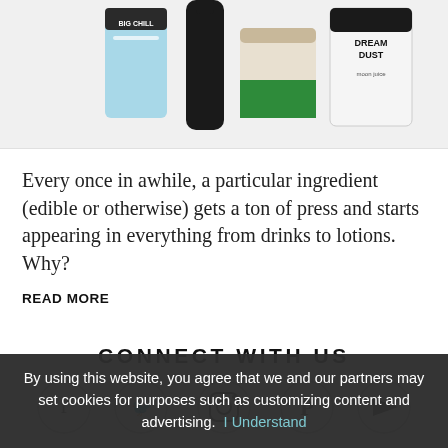[Figure (photo): Product images: BIG CHILL supplement bottle, black bottle, green and beige jar, DREAM DUST Moon Juice container on light grey background]
Every once in awhile, a particular ingredient (edible or otherwise) gets a ton of press and starts appearing in everything from drinks to lotions. Why?
READ MORE
CONNECT WITH US
[Figure (infographic): Social media icons: Facebook, Twitter, Instagram, Pinterest, YouTube — each in a light circle outline]
By using this website, you agree that we and our partners may set cookies for purposes such as customizing content and advertising.  I Understand